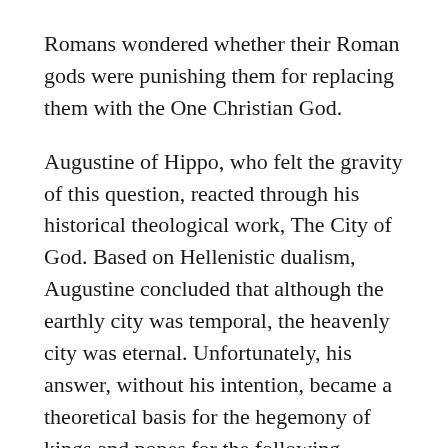Romans wondered whether their Roman gods were punishing them for replacing them with the One Christian God.
Augustine of Hippo, who felt the gravity of this question, reacted through his historical theological work, The City of God. Based on Hellenistic dualism, Augustine concluded that although the earthly city was temporal, the heavenly city was eternal. Unfortunately, his answer, without his intention, became a theoretical basis for the hegemony of kings and popes for the following millennium, known to us as the dark ages.
Some characteristics of the church's mission during